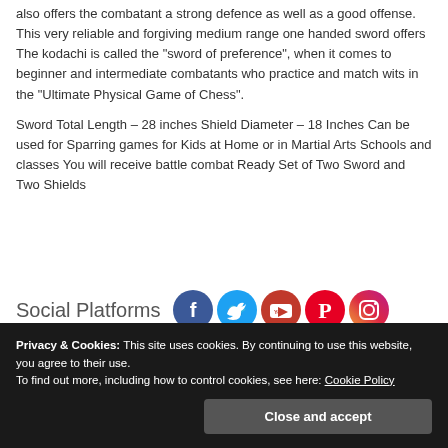also offers the combatant a strong defence as well as a good offense. This very reliable and forgiving medium range one handed sword offers The kodachi is called the "sword of preference", when it comes to beginner and intermediate combatants who practice and match wits in the "Ultimate Physical Game of Chess".
Sword Total Length – 28 inches Shield Diameter – 18 Inches Can be used for Sparring games for Kids at Home or in Martial Arts Schools and classes You will receive battle combat Ready Set of Two Sword and Two Shields
Social Platforms
[Figure (infographic): Row of social media icons: Facebook (blue), Twitter (light blue), YouTube (red with 'You' text), Pinterest (red), Instagram (purple)]
Privacy & Cookies: This site uses cookies. By continuing to use this website, you agree to their use.
To find out more, including how to control cookies, see here: Cookie Policy
Close and accept